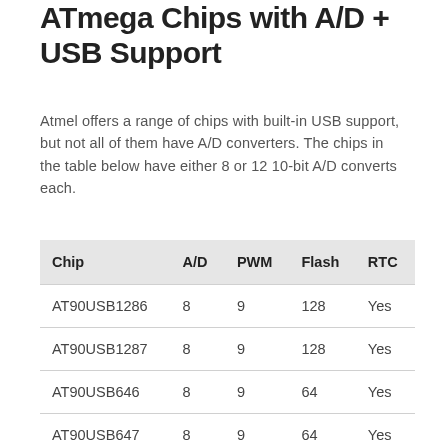ATmega Chips with A/D + USB Support
Atmel offers a range of chips with built-in USB support, but not all of them have A/D converters. The chips in the table below have either 8 or 12 10-bit A/D converts each.
| Chip | A/D | PWM | Flash | RTC |
| --- | --- | --- | --- | --- |
| AT90USB1286 | 8 | 9 | 128 | Yes |
| AT90USB1287 | 8 | 9 | 128 | Yes |
| AT90USB646 | 8 | 9 | 64 | Yes |
| AT90USB647 | 8 | 9 | 64 | Yes |